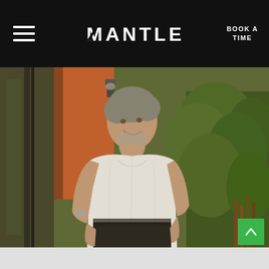MANTLE | BOOK A TIME
[Figure (photo): Middle-aged man with grey stubble, smiling, wearing a white t-shirt and dark pants with a watch, standing outdoors against orange wall and green plants/shrubs, glass wall to the left]
[Figure (other): Green scroll-to-top button with upward chevron arrow in bottom right corner]